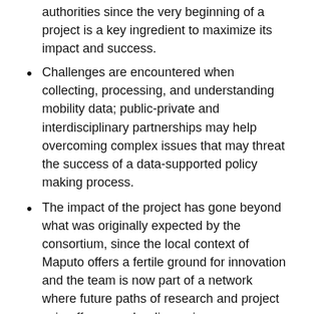authorities since the very beginning of a project is a key ingredient to maximize its impact and success.
Challenges are encountered when collecting, processing, and understanding mobility data; public-private and interdisciplinary partnerships may help overcoming complex issues that may threat the success of a data-supported policy making process.
The impact of the project has gone beyond what was originally expected by the consortium, since the local context of Maputo offers a fertile ground for innovation and the team is now part of a network where future paths of research and project spin-offs are under discussion.
Links
http://www.amt.gov.mz (Maputo Transport agency official website)
http://www.polisocial.polimi.it/en/home-en/ (Official